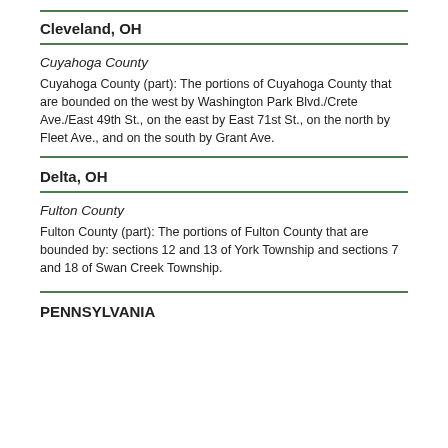Cleveland, OH
Cuyahoga County
Cuyahoga County (part): The portions of Cuyahoga County that are bounded on the west by Washington Park Blvd./Crete Ave./East 49th St., on the east by East 71st St., on the north by Fleet Ave., and on the south by Grant Ave.
Delta, OH
Fulton County
Fulton County (part): The portions of Fulton County that are bounded by: sections 12 and 13 of York Township and sections 7 and 18 of Swan Creek Township.
PENNSYLVANIA